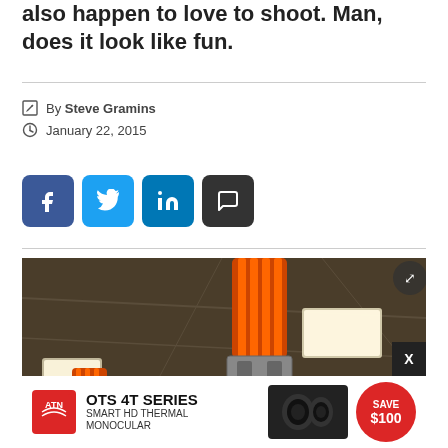also happen to love to shoot. Man, does it look like fun.
By Steve Gramins
January 22, 2015
[Figure (other): Social share buttons: Facebook (dark blue), Twitter (light blue), LinkedIn (medium blue), Comment (dark/black)]
[Figure (photo): Overhead industrial/mechanical device with orange cylindrical element and mechanical claw/gripper hanging from ceiling in a large indoor space with fluorescent lights]
[Figure (other): ATN advertisement banner: OTS 4T SERIES SMART HD THERMAL MONOCULAR - SAVE $100]